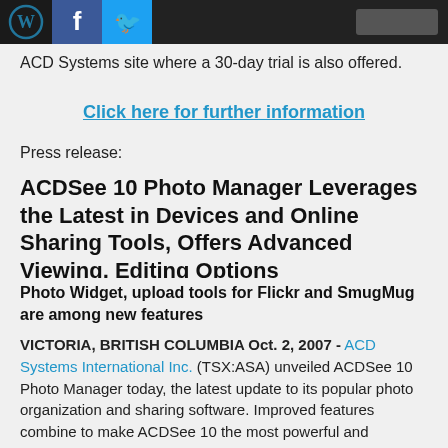[Figure (screenshot): Header bar with WordPress, Facebook, and Twitter logos/icons on dark background, with a search box on the right]
ACD Systems site where a 30-day trial is also offered.
Click here for further information
Press release:
ACDSee 10 Photo Manager Leverages the Latest in Devices and Online Sharing Tools, Offers Advanced Viewing, Editing Options
Photo Widget, upload tools for Flickr and SmugMug are among new features
VICTORIA, BRITISH COLUMBIA Oct. 2, 2007 - ACD Systems International Inc. (TSX:ASA) unveiled ACDSee 10 Photo Manager today, the latest update to its popular photo organization and sharing software. Improved features combine to make ACDSee 10 the most powerful and affordably priced tool available for seamless integration with photo sharing sites such as Flickr and SmugMug, as well as cameras and other devices. Additional features include real-time viewing, management